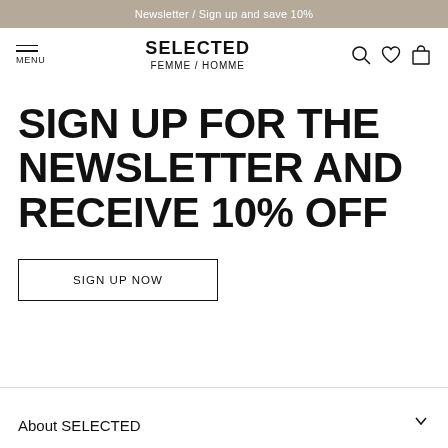Newsletter / Sign up and save 10%
[Figure (logo): Selected Femme / Homme logo with navigation icons (search, heart, bag) and hamburger menu]
SIGN UP FOR THE NEWSLETTER AND RECEIVE 10% OFF
SIGN UP NOW
About SELECTED